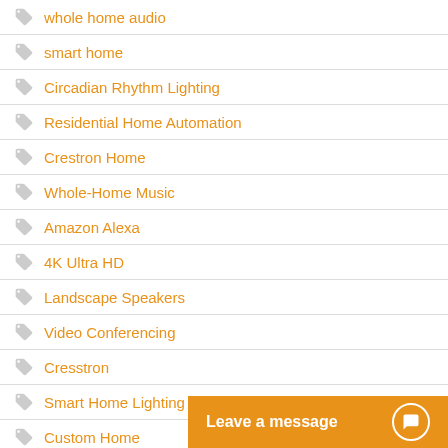whole home audio
smart home
Circadian Rhythm Lighting
Residential Home Automation
Crestron Home
Whole-Home Music
Amazon Alexa
4K Ultra HD
Landscape Speakers
Video Conferencing
Cresstron
Smart Home Lighting
Custom Home
2-Channel Listening R
Technology Troubles
Leave a message